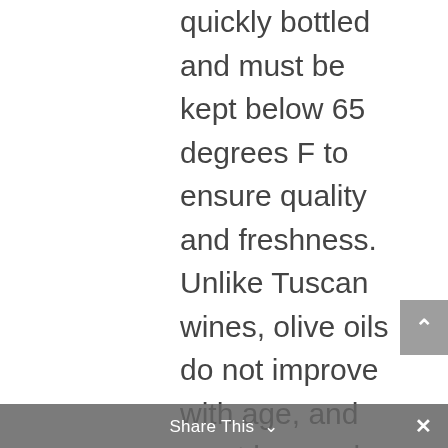quickly bottled and must be kept below 65 degrees F to ensure quality and freshness. Unlike Tuscan wines, olive oils do not improve with age, and must be used within a year of harvesting. Do not let the beauty of your bottle of Tuscan oil tempt you into placing it on display in your kitchen. Even though it looks beautiful, sunlight will destroy the oil and render it unusable. Keep your oil in a dark, cool place and keep it tightly sealed. Enjoy!
Share This ∨  ×